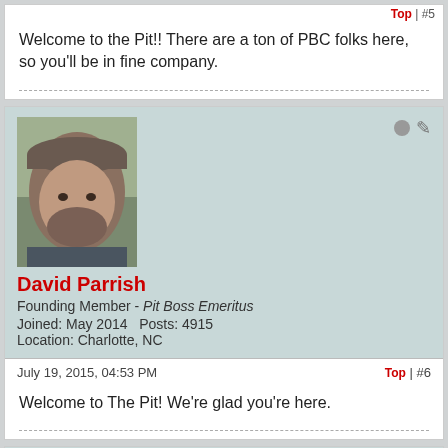Welcome to the Pit!! There are a ton of PBC folks here, so you'll be in fine company.
David Parrish
Founding Member - Pit Boss Emeritus
Joined: May 2014    Posts: 4915
Location: Charlotte, NC
July 19, 2015, 04:53 PM
Top | #6
Welcome to The Pit! We're glad you're here.